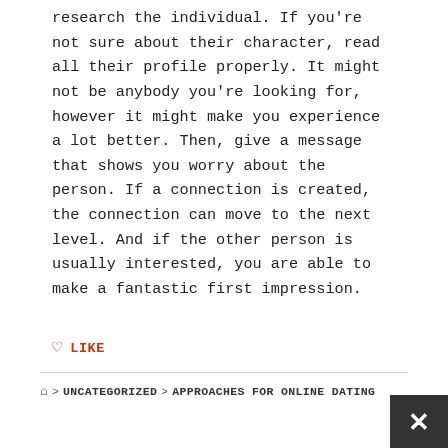research the individual. If you're not sure about their character, read all their profile properly. It might not be anybody you're looking for, however it might make you experience a lot better. Then, give a message that shows you worry about the person. If a connection is created, the connection can move to the next level. And if the other person is usually interested, you are able to make a fantastic first impression.
LIKE
🏠 > UNCATEGORIZED > APPROACHES FOR ONLINE DATING